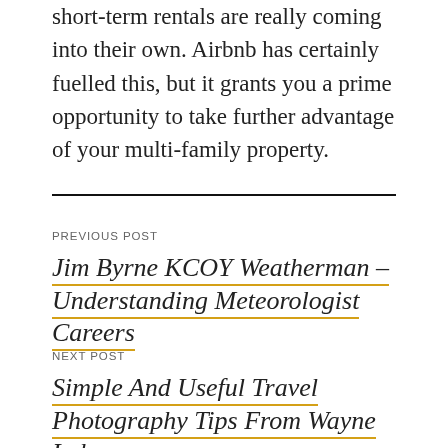short-term rentals are really coming into their own. Airbnb has certainly fuelled this, but it grants you a prime opportunity to take further advantage of your multi-family property.
PREVIOUS POST
Jim Byrne KCOY Weatherman – Understanding Meteorologist Careers
NEXT POST
Simple And Useful Travel Photography Tips From Wayne Imber